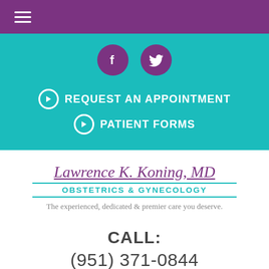≡ (hamburger menu)
[Figure (logo): Facebook and Twitter social media icons in purple circles on teal background]
→ REQUEST AN APPOINTMENT
→ PATIENT FORMS
Lawrence K. Koning, MD OBSTETRICS & GYNECOLOGY
The experienced, dedicated & premier care you deserve.
CALL: (951) 371-0844
[Figure (photo): Bottom strip showing partial photo of people]